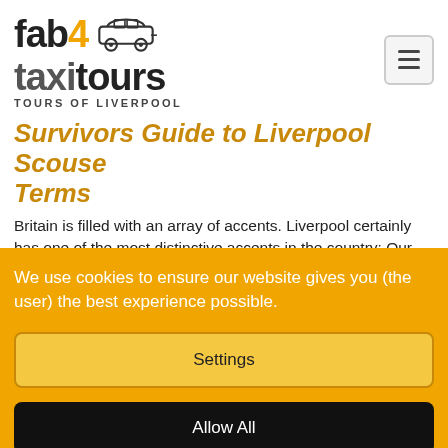[Figure (logo): fab4taxitours logo with car illustration and text 'TOURS OF LIVERPOOL']
Survivors Guide to Liverpool Scouse Terms
Britain is filled with an array of accents. Liverpool certainly has one of the most distinctive accents in the country: Our list Liverpool Scouse Terms should help you through your day
We use cookies to ensure our website gives you (the user) the best experience possible.
Settings
Allow All
Disable All